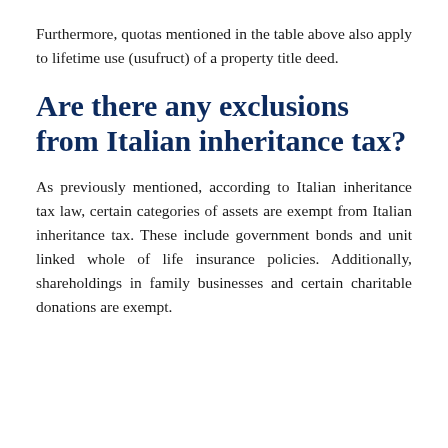Furthermore, quotas mentioned in the table above also apply to lifetime use (usufruct) of a property title deed.
Are there any exclusions from Italian inheritance tax?
As previously mentioned, according to Italian inheritance tax law, certain categories of assets are exempt from Italian inheritance tax. These include government bonds and unit linked whole of life insurance policies. Additionally, shareholdings in family businesses and certain charitable donations are exempt.